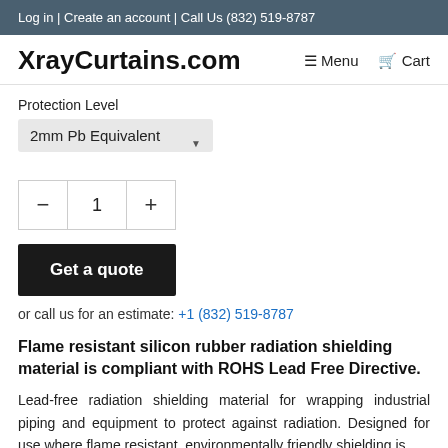Log in | Create an account | Call Us (832) 519-8787
XrayCurtains.com
Protection Level
2mm Pb Equivalent
1
Get a quote
or call us for an estimate: +1 (832) 519-8787
Flame resistant silicon rubber radiation shielding material is compliant with ROHS Lead Free Directive.
Lead-free radiation shielding material for wrapping industrial piping and equipment to protect against radiation. Designed for use where flame resistant, environmentally friendly shielding is